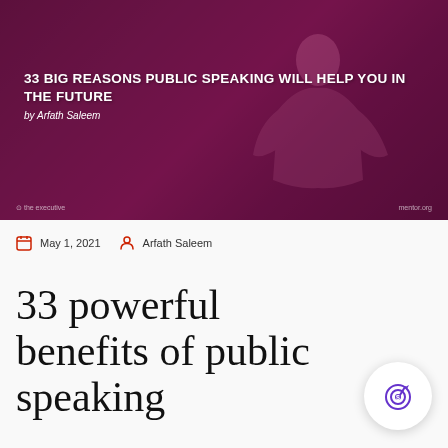[Figure (photo): Hero banner image with purple/magenta overlay showing a person speaking with arms outstretched. Text overlay reads '33 BIG REASONS PUBLIC SPEAKING WILL HELP YOU IN THE FUTURE' and 'by Arfath Saleem']
May 1, 2021   Arfath Saleem
33 powerful benefits of public speaking